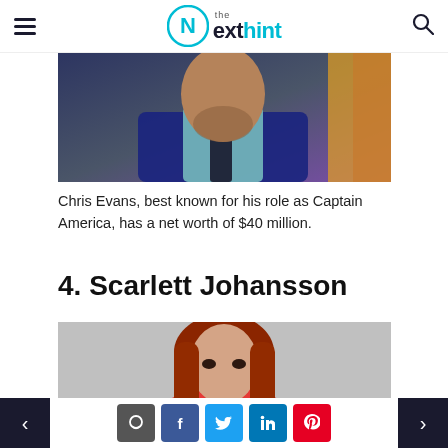The Next Hint — navigation header with hamburger menu and search icon
[Figure (photo): Chris Evans in a navy blue suit with mint green dress shirt and dark tie, at what appears to be a Marvel movie premiere with purple/orange background]
Chris Evans, best known for his role as Captain America, has a net worth of $40 million.
4. Scarlett Johansson
[Figure (photo): Scarlett Johansson as Black Widow with red hair, stern expression, wearing a white top, with a large red inverted triangle/chevron graphic behind her on a light gray background]
Navigation footer with previous/next page buttons and social share icons (chat, Facebook, Twitter, LinkedIn, Pinterest)